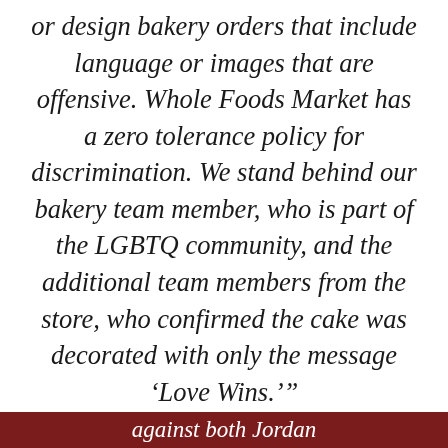or design bakery orders that include language or images that are offensive. Whole Foods Market has a zero tolerance policy for discrimination. We stand behind our bakery team member, who is part of the LGBTQ community, and the additional team members from the store, who confirmed the cake was decorated with only the message ‘Love Wins.’”
against both Jordan